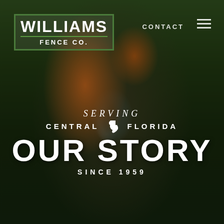[Figure (photo): A welder in an orange shirt bending over work, wearing a welding helmet, with welding sparks/light visible. Outdoor industrial setting with equipment in background.]
[Figure (logo): Williams Fence Co. logo — white text on dark green bordered box. WILLIAMS in large bold letters, green separator line, FENCE CO. below.]
CONTACT
SERVING CENTRAL FLORIDA OUR STORY SINCE 1959